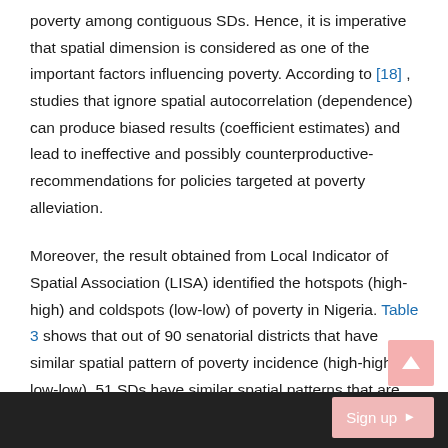poverty among contiguous SDs. Hence, it is imperative that spatial dimension is considered as one of the important factors influencing poverty. According to [18] , studies that ignore spatial autocorrelation (dependence) can produce biased results (coefficient estimates) and lead to ineffective and possibly counterproductive-recommendations for policies targeted at poverty alleviation.
Moreover, the result obtained from Local Indicator of Spatial Association (LISA) identified the hotspots (high-high) and coldspots (low-low) of poverty in Nigeria. Table 3 shows that out of 90 senatorial districts that have similar spatial pattern of poverty incidence (high-high and low-low), 51 SDs have similar spatial patterns that are statistically significant. LISA indices (p < 0.05). The hotspots (high-high SDs) constitute the senatorial districts with